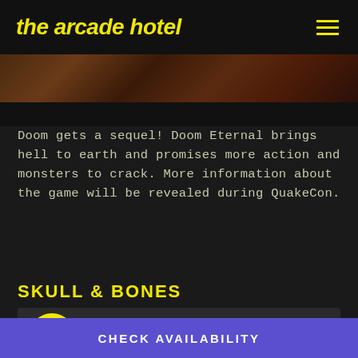the arcade hotel
[Figure (photo): Dark screenshot or promotional image for Doom Eternal, showing dark rocky/hellish environment]
Doom gets a sequel! Doom Eternal brings hell to earth and promises more action and monsters to crack. More information about the game will be revealed during QuakeCon.
SKULL & BONES
[Figure (infographic): Card with yellow circle containing a gift/present box icon on dark grey background]
CHECK AVAILABILITY